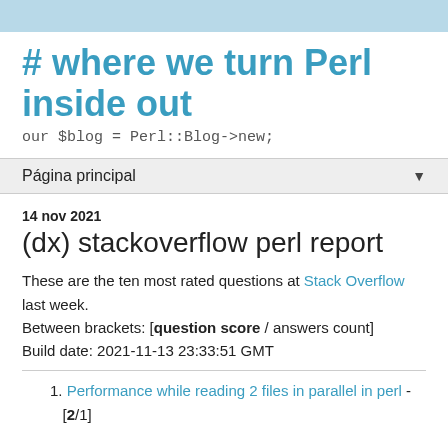# where we turn Perl inside out
our $blog = Perl::Blog->new;
Página principal
14 nov 2021
(dx) stackoverflow perl report
These are the ten most rated questions at Stack Overflow last week.
Between brackets: [question score / answers count]
Build date: 2021-11-13 23:33:51 GMT
Performance while reading 2 files in parallel in perl - [2/1]